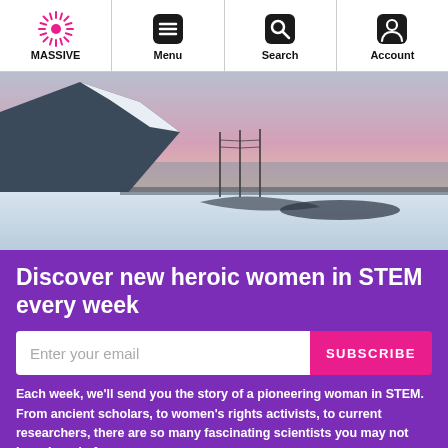MASSIVE | Menu | Search | Account
[Figure (photo): Snowy Arctic landscape with a mountain, frozen ground, utility poles, and a pastel pink/purple sunset sky over a body of water]
Discover new heroic women in STEM every week
Each week, we'll send you the story of a pioneering woman in STEM. From ancient scholars, to women's rights activists, to current researchers, there are so many fascinating scientists you may not have heard of.
× Not Interested
✓ Already Subscribed